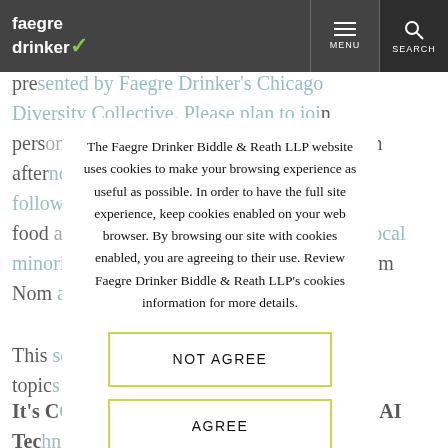Faegre Drinker — MENU / SEARCH
presented by Faegre Drinker's Chicago Diversity Collective. Please plan to join us in person at the new Faegre Drinker Detroit office for an afternoon of three CLE trial practice panels followed by a networking reception featuring food and drinks featuring some of our city's local minority-owned businesses including Viet Nom Nom and Vida Mia Cocktails.

This series of panels will explore a range of topics of particular interest, including:
It's ComplicAlted: Legal Considerations in AI Technology
The Faegre Drinker Biddle & Reath LLP website uses cookies to make your browsing experience as useful as possible. In order to have the full site experience, keep cookies enabled on your web browser. By browsing our site with cookies enabled, you are agreeing to their use. Review Faegre Drinker Biddle & Reath LLP's cookies information for more details.
NOT AGREE
AGREE